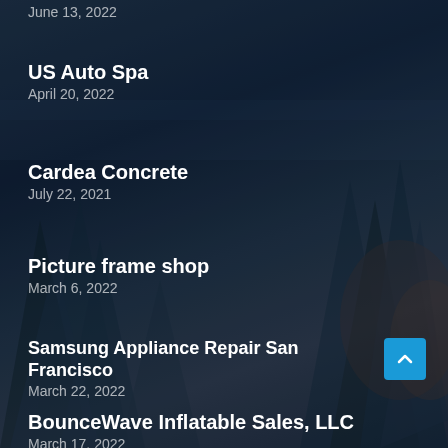June 13, 2022
US Auto Spa
April 20, 2022
Cardea Concrete
July 22, 2021
Picture frame shop
March 6, 2022
Samsung Appliance Repair San Francisco
March 22, 2022
BounceWave Inflatable Sales, LLC
March 17, 2022